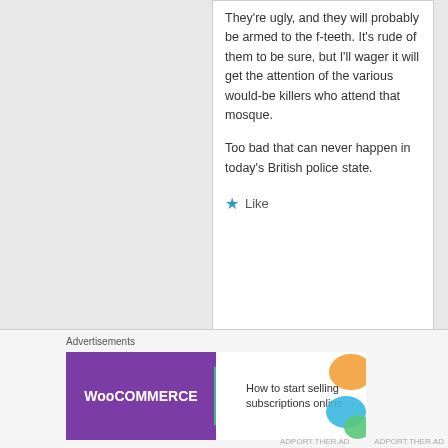They're ugly, and they will probably be armed to the f-teeth. It's rude of them to be sure, but I'll wager it will get the attention of the various would-be killers who attend that mosque.

Too bad that can never happen in today's British police state.
Like
[Figure (screenshot): Log In To Reply button with forum icon]
[Figure (logo): WooCommerce advertisement banner: How to start selling subscriptions online]
Advertisements